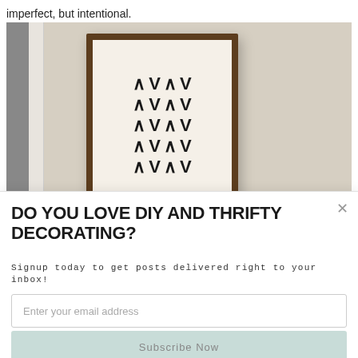imperfect, but intentional.
[Figure (photo): Photo of a framed art print with bold chevron/arrow pattern in black on cream background, displayed on a beige wall. A 'POWERED BY SUMO' badge is overlaid at the bottom of the image.]
DO YOU LOVE DIY AND THRIFTY DECORATING?
Signup today to get posts delivered right to your inbox!
Enter your email address
Subscribe Now